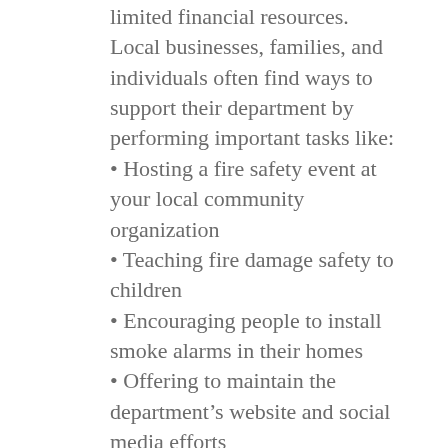limited financial resources. Local businesses, families, and individuals often find ways to support their department by performing important tasks like:
Hosting a fire safety event at your local community organization
Teaching fire damage safety to children
Encouraging people to install smoke alarms in their homes
Offering to maintain the department's website and social media efforts
Distributing the fire department's disaster preparedness materials
Providing refreshments to first responders during major disaster events
Cooking for the fire department's on-duty staff
Helping maintain the fire station and